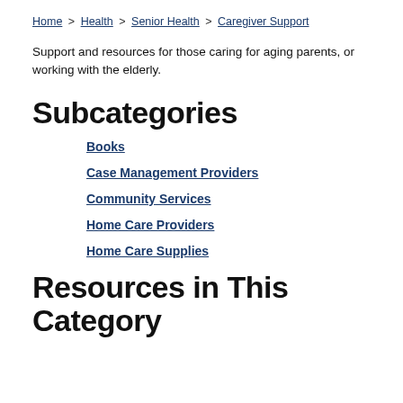Home > Health > Senior Health > Caregiver Support
Support and resources for those caring for aging parents, or working with the elderly.
Subcategories
Books
Case Management Providers
Community Services
Home Care Providers
Home Care Supplies
Resources in This Category